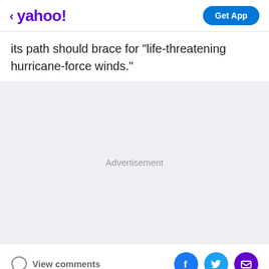< yahoo! | Get App
its path should brace for "life-threatening hurricane-force winds."
[Figure (other): Advertisement placeholder area with light gray background]
View comments | Facebook share | Twitter share | Email share